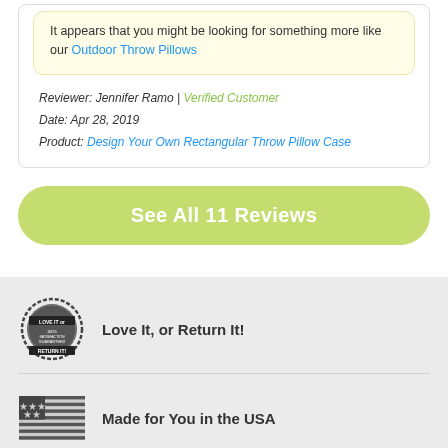It appears that you might be looking for something more like our Outdoor Throw Pillows
Reviewer: Jennifer Ramo | Verified Customer
Date: Apr 28, 2019
Product: Design Your Own Rectangular Throw Pillow Case
See All 11 Reviews
[Figure (illustration): Circular stamp badge with text LOVE IT or 100% SATISFACTION GUARANTEED RETURN IT]
Love It, or Return It!
[Figure (illustration): American flag illustration in black and white]
Made for You in the USA